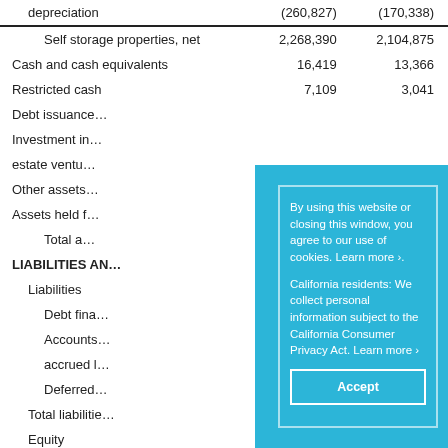|  | Col1 | Col2 |
| --- | --- | --- |
| depreciation | (260,827) | (170,338) |
| Self storage properties, net | 2,268,390 | 2,104,875 |
| Cash and cash equivalents | 16,419 | 13,366 |
| Restricted cash | 7,109 | 3,041 |
| Debt issuance… |  |  |
| Investment in… estate ventu… |  |  |
| Other assets… |  |  |
| Assets held f… |  |  |
| Total a… |  |  |
| LIABILITIES AN… |  |  |
| Liabilities |  |  |
| Debt fina… |  |  |
| Accounts… accrued l… |  |  |
| Deferred… |  |  |
| Total liabilitie… |  |  |
| Equity |  |  |
| Preferred… |  |  |
[Figure (screenshot): Cookie consent overlay popup with blue background. Text reads: 'By using this website or closing this window, you agree to our use of cookies. Learn more ›. California residents: We collect personal information subject to the California Consumer Privacy Act. Learn more ›' with an Accept button.]